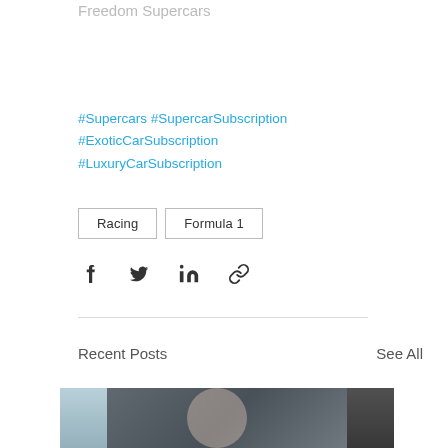Freedom Supercars
#Supercars #SupercarSubscription #ExoticCarSubscription #LuxuryCarSubscription
Racing
Formula 1
[Figure (other): Social share icons: Facebook, Twitter, LinkedIn, Link]
Recent Posts
See All
[Figure (photo): Three thumbnail images: partial left image, center image of woman in car, partial right image]